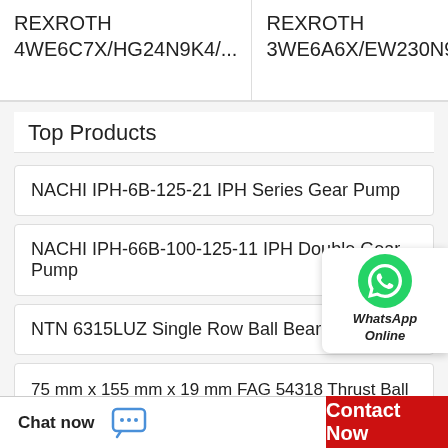REXROTH 4WE6C7X/HG24N9K4/...
REXROTH 3WE6A6X/EW230N9K4...
Top Products
NACHI IPH-6B-125-21 IPH Series Gear Pump
NACHI IPH-66B-100-125-11 IPH Double Gear Pump
NTN 6315LUZ Single Row Ball Bearings
[Figure (logo): WhatsApp Online badge with green WhatsApp icon and italic text 'WhatsApp Online']
75 mm x 155 mm x 19 mm FAG 54318 Thrust Ball Bearing
Timken set3 Bearing
Chat now
Contact Now